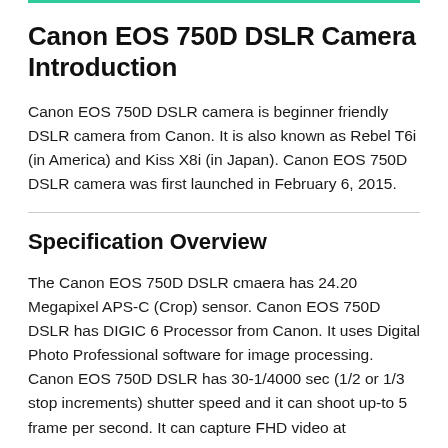Canon EOS 750D DSLR Camera Introduction
Canon EOS 750D DSLR camera is beginner friendly DSLR camera from Canon. It is also known as Rebel T6i (in America) and Kiss X8i (in Japan). Canon EOS 750D DSLR camera was first launched in February 6, 2015.
Specification Overview
The Canon EOS 750D DSLR cmaera has 24.20 Megapixel APS-C (Crop) sensor. Canon EOS 750D DSLR has DIGIC 6 Processor from Canon. It uses Digital Photo Professional software for image processing. Canon EOS 750D DSLR has 30-1/4000 sec (1/2 or 1/3 stop increments) shutter speed and it can shoot up-to 5 frame per second. It can capture FHD video at